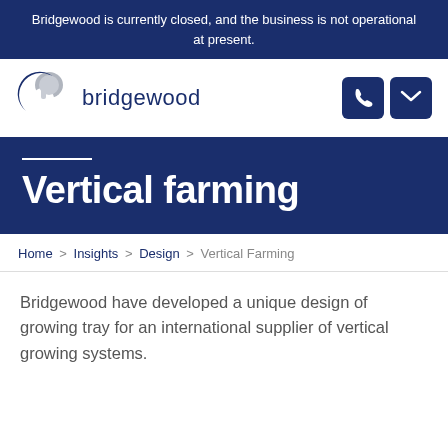Bridgewood is currently closed, and the business is not operational at present.
[Figure (logo): Bridgewood logo: stylized blue and grey crescent/letter b icon with the word 'bridgewood' in navy blue text]
Vertical farming
Home > Insights > Design > Vertical Farming
Bridgewood have developed a unique design of growing tray for an international supplier of vertical growing systems.